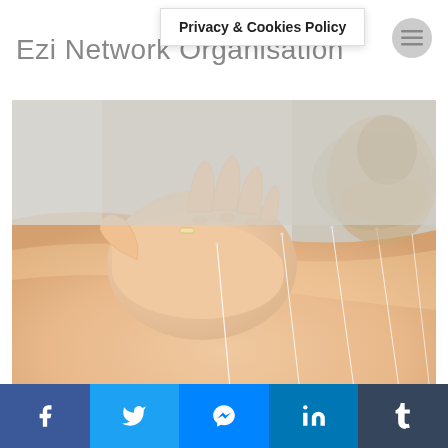Ezi Network Organisation
Privacy & Cookies Policy
[Figure (photo): Close-up photo of acupuncture needles inserted into a person's back, with a practitioner's hands placing the needles. Blurred clinical background.]
by Cameron Able on December 19, 2021